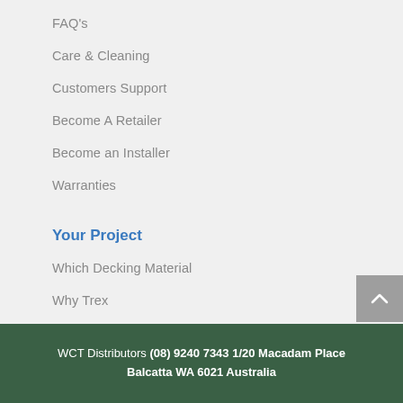FAQ's
Care & Cleaning
Customers Support
Become A Retailer
Become an Installer
Warranties
Your Project
Which Decking Material
Why Trex
Trex Visualiser App
Start Your Project
WCT Distributors (08) 9240 7343 1/20 Macadam Place Balcatta WA 6021 Australia